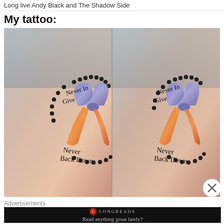Long live Andy Black and The Shadow Side
My tattoo:
[Figure (photo): Two side-by-side photos of a tattoo on a person's upper back/shoulder. The tattoo features a colorful awareness ribbon (purple/blue and orange/red) with scripted text reading 'Never In Give' at the top and 'Never Back Down' at the bottom, surrounded by a black beaded rosary chain design.]
Advertisements
[Figure (screenshot): Advertisement banner for Longreads website with dark background, Longreads logo (red circle with L), and text 'Read anything great lately?']